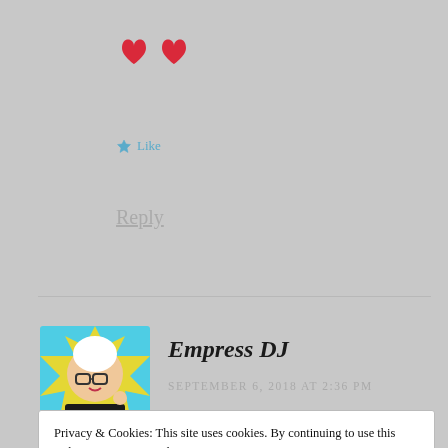[Figure (illustration): Two red heart emoji icons]
★ Like
Reply
[Figure (illustration): Avatar of Empress DJ - cartoon bitmoji style character with white hair and glasses on blue/yellow background]
Empress DJ
SEPTEMBER 6, 2018 AT 2:36 PM
Privacy & Cookies: This site uses cookies. By continuing to use this website, you agree to their use.
To find out more, including how to control cookies, see here: Cookie Policy
Close and accept
★ Like